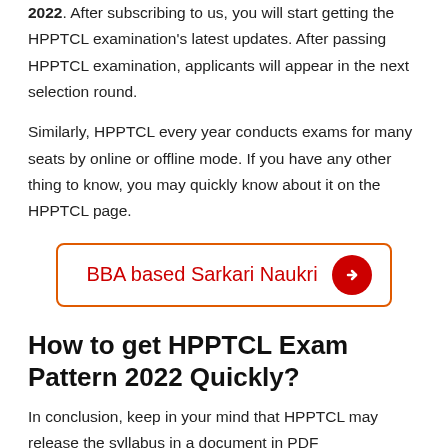2022. After subscribing to us, you will start getting the HPPTCL examination's latest updates. After passing HPPTCL examination, applicants will appear in the next selection round.
Similarly, HPPTCL every year conducts exams for many seats by online or offline mode. If you have any other thing to know, you may quickly know about it on the HPPTCL page.
[Figure (other): Button link styled with orange border reading 'BBA based Sarkari Naukri' with a red circular arrow icon]
How to get HPPTCL Exam Pattern 2022 Quickly?
In conclusion, keep in your mind that HPPTCL may release the syllabus in a document in PDF